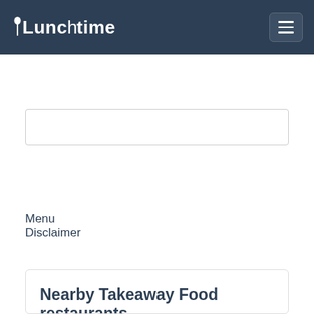Lunchtime
Menu Disclaimer
| Name | Cuisines |
| --- | --- |
| Uncle Sam's Take Away Food | Takeaway Food |
| Eat-A-Pizza | Pizza & Pasta. Takeaway |